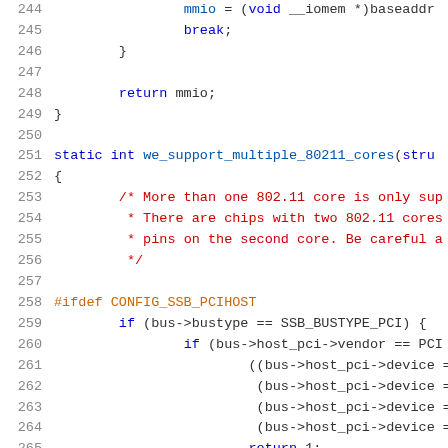[Figure (screenshot): Source code listing showing C code lines 244-265, with syntax highlighting. Line numbers in gray on left, keywords in blue, comments in red/dark red, preprocessor directives in orange.]